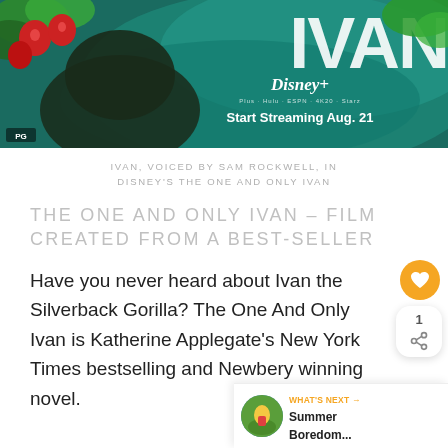[Figure (photo): Movie banner for Disney's The One and Only Ivan — colorful painted art with a gorilla, strawberries, and tropical foliage. Disney+ logo and text 'Start Streaming Aug. 21' visible. PG rating shown bottom left.]
IVAN, VOICED BY SAM ROCKWELL, IN DISNEY'S THE ONE AND ONLY IVAN
THE ONE AND ONLY IVAN – FILM CREATED FROM A BEST-SELLER
Have you never heard about Ivan the Silverback Gorilla? The One And Only Ivan is Katherine Applegate's New York Times bestselling and Newbery winning novel.